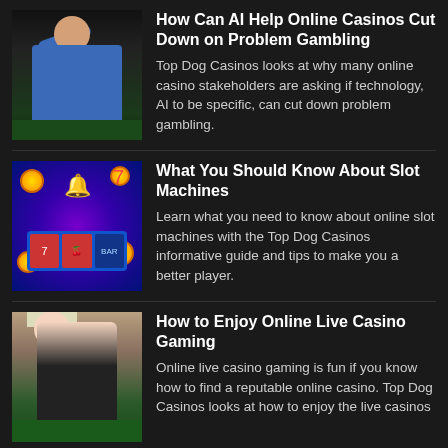[Figure (photo): Man sitting at a casino table with his hand on his forehead, looking stressed or upset — problem gambling concept image]
How Can AI Help Online Casinos Cut Down on Problem Gambling
Top Dog Casinos looks at why many online casino stakeholders are asking if technology, AI to be specific, can cut down problem gambling.
[Figure (photo): Colorful slot machine graphic with reels showing cherries, sevens, and BAR symbols, with coins and bonus symbols around it]
What You Should Know About Slot Machines
Learn what you need to know about online slot machines with the Top Dog Casinos informative guide and tips to make you a better player.
[Figure (photo): Female blonde casino dealer in black dress standing at a green felt casino table in a live casino setting]
How to Enjoy Online Live Casino Gaming
Online live casino gaming is fun if you know how to find a reputable online casino. Top Dog Casinos looks at how to enjoy the live casinos